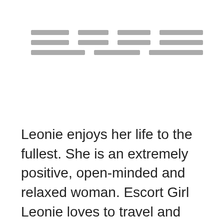[Figure (other): Redacted/blurred text lines represented as grey horizontal bars in three rows]
Leonie enjoys her life to the fullest. She is an extremely positive, open-minded and relaxed woman. Escort Girl Leonie loves to travel and explore foreign countries. In her spare time she keeps herself busy with regular exercising. Yoga and running being some of her favourite activities. Leonie is a mindful listener and is capable of leading discussions about deep subject as well as